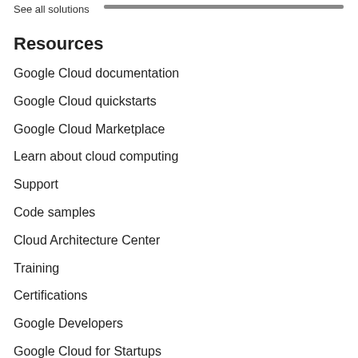See all solutions
Resources
Google Cloud documentation
Google Cloud quickstarts
Google Cloud Marketplace
Learn about cloud computing
Support
Code samples
Cloud Architecture Center
Training
Certifications
Google Developers
Google Cloud for Startups
System status